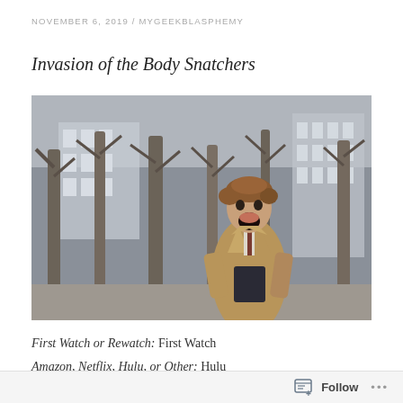NOVEMBER 6, 2019 / MYGEEKBLASPHEMY
Invasion of the Body Snatchers
[Figure (photo): A man in a tan trenchcoat with mouth wide open screaming, standing outdoors among bare tree trunks with a city building visible in the background. Scene from the film Invasion of the Body Snatchers.]
First Watch or Rewatch: First Watch
Amazon, Netflix, Hulu, or Other: Hulu
Follow